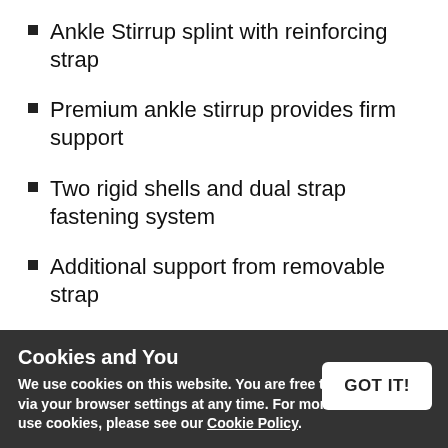Ankle Stirrup splint with reinforcing strap
Premium ankle stirrup provides firm support
Two rigid shells and dual strap fastening system
Additional support from removable strap
Inner lining is made from thermo-regulating outlast fabric
Ideal for long-term comfort
Simplified fastening uses pulley system and Velcro straps
Provides precise adjustment and uniform [partially obscured]
[partially obscured] side supports
Cookies and You
We use cookies on this website. You are free to manage these via your browser settings at any time. For more about how we use cookies, please see our Cookie Policy.